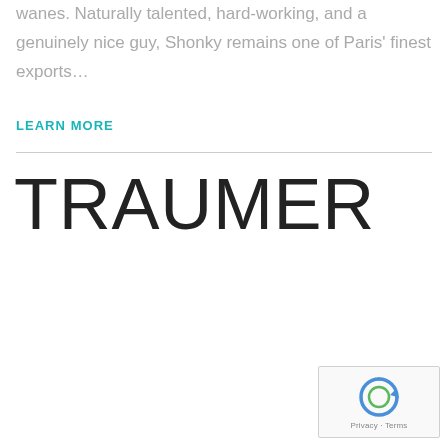wanes. Naturally talented, hard-working, and a genuinely nice guy, Shonky remains one of Paris' finest exports…
LEARN MORE
TRAUMER
[Figure (other): reCAPTCHA widget with Privacy - Terms text]